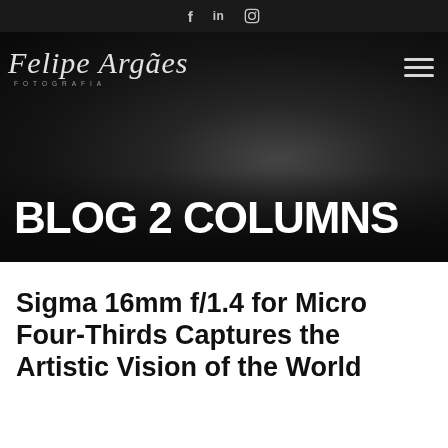f  in  IG
[Figure (screenshot): Photography website header with script logo 'Felipe Argães FOTOGRAFIA' and hamburger menu on dark hero image background]
BLOG 2 COLUMNS
Sigma 16mm f/1.4 for Micro Four-Thirds Captures the Artistic Vision of the World